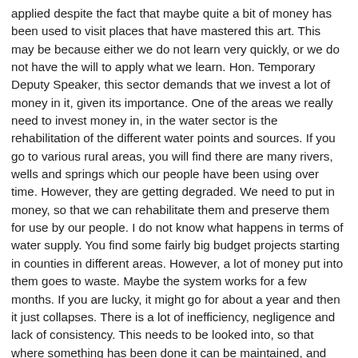applied despite the fact that maybe quite a bit of money has been used to visit places that have mastered this art. This may be because either we do not learn very quickly, or we do not have the will to apply what we learn. Hon. Temporary Deputy Speaker, this sector demands that we invest a lot of money in it, given its importance. One of the areas we really need to invest money in, in the water sector is the rehabilitation of the different water points and sources. If you go to various rural areas, you will find there are many rivers, wells and springs which our people have been using over time. However, they are getting degraded. We need to put in money, so that we can rehabilitate them and preserve them for use by our people. I do not know what happens in terms of water supply. You find some fairly big budget projects starting in counties in different areas. However, a lot of money put into them goes to waste. Maybe the system works for a few months. If you are lucky, it might go for about a year and then it just collapses. There is a lot of inefficiency, negligence and lack of consistency. This needs to be looked into, so that where something has been done it can be maintained, and the investment put into such a project is made beneficial to the people. It is really sad to find that a lot of money is pumped into a water project. It starts but within a short time it has collapsed, and then there is no water for the population. The